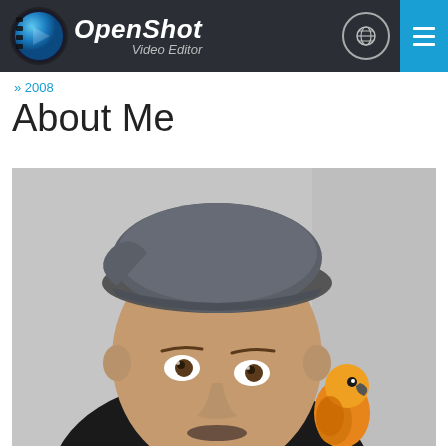OpenShot Video Editor
» 2008
About Me
[Figure (photo): A man wearing a dark baseball cap with a small orange and yellow parrot perched on his shoulder, photographed against a light gray background. Close-up portrait style photo.]